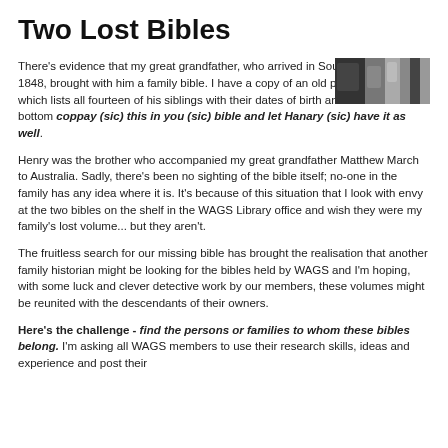Two Lost Bibles
There’s evidence that my great grandfather, who arrived in South Australia in 1848, brought with him a family bible. I have a copy of an old piece of paper which lists all fourteen of his siblings with their dates of birth and a note at the bottom coppay (sic) this in you (sic) bible and let Hanary (sic) have it as well.
[Figure (photo): Black and white photograph of two people]
Henry was the brother who accompanied my great grandfather Matthew March to Australia. Sadly, there’s been no sighting of the bible itself; no-one in the family has any idea where it is. It’s because of this situation that I look with envy at the two bibles on the shelf in the WAGS Library office and wish they were my family’s lost volume... but they aren't.
The fruitless search for our missing bible has brought the realisation that another family historian might be looking for the bibles held by WAGS and I’m hoping, with some luck and clever detective work by our members, these volumes might be reunited with the descendants of their owners.
Here’s the challenge - find the persons or families to whom these bibles belong. I’m asking all WAGS members to use their research skills, ideas and experience and post their